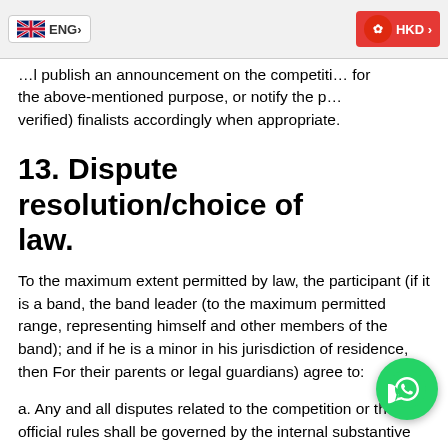...will publish an announcement on the competition website for the above-mentioned purpose, or notify the participants (verified) finalists accordingly when appropriate.
13. Dispute resolution/choice of law.
To the maximum extent permitted by law, the participant (if it is a band, the band leader (to the maximum permitted range, representing himself and other members of the band); and if he is a minor in his jurisdiction of residence, then For their parents or legal guardians) agree to:
a. Any and all disputes related to the competition or these official rules shall be governed by the internal substantive law of California (that is, the law/conflict of laws and regulations of the selected California or any other jurisdiction shall not be considered);
b. Participants are subject to the exclusive jurisdiction of the Federal District Court for the Central District of California, the Southern District Court, or the California State Court in Orange